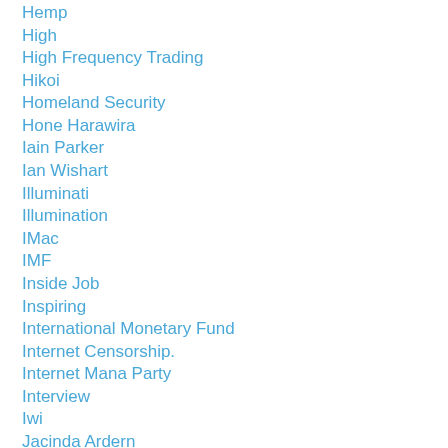Hemp
High
High Frequency Trading
Hikoi
Homeland Security
Hone Harawira
Iain Parker
Ian Wishart
Illuminati
Illumination
IMac
IMF
Inside Job
Inspiring
International Monetary Fund
Internet Censorship.
Internet Mana Party
Interview
Iwi
Jacinda Ardern
James Dunne